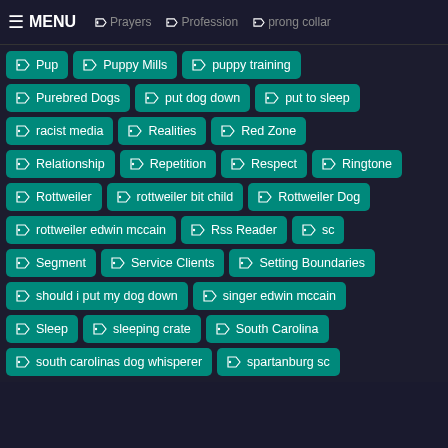MENU | Prayers | Profession | prong collar
Pup
Puppy Mills
puppy training
Purebred Dogs
put dog down
put to sleep
racist media
Realities
Red Zone
Relationship
Repetition
Respect
Ringtone
Rottweiler
rottweiler bit child
Rottweiler Dog
rottweiler edwin mccain
Rss Reader
sc
Segment
Service Clients
Setting Boundaries
should i put my dog down
singer edwin mccain
Sleep
sleeping crate
South Carolina
south carolinas dog whisperer
spartanburg sc